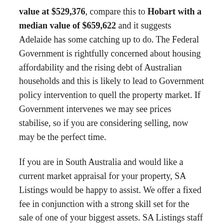value at $529,376, compare this to Hobart with a median value of $659,622 and it suggests Adelaide has some catching up to do. The Federal Government is rightfully concerned about housing affordability and the rising debt of Australian households and this is likely to lead to Government policy intervention to quell the property market. If Government intervenes we may see prices stabilise, so if you are considering selling, now may be the perfect time.
If you are in South Australia and would like a current market appraisal for your property, SA Listings would be happy to assist. We offer a fixed fee in conjunction with a strong skill set for the sale of one of your biggest assets. SA Listings staff include licensed Land Agents with qualifications in Conveyancing, Property